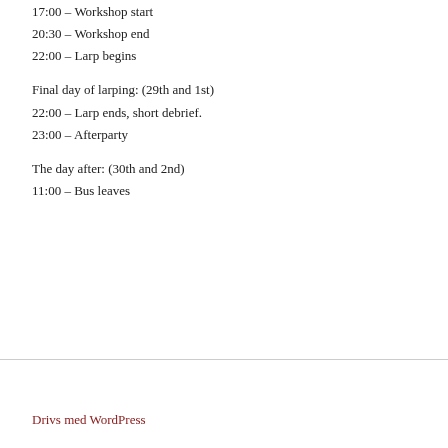17:00 – Workshop start
20:30 – Workshop end
22:00 – Larp begins
Final day of larping: (29th and 1st)
22:00 – Larp ends, short debrief.
23:00 – Afterparty
The day after: (30th and 2nd)
11:00 – Bus leaves
Drivs med WordPress